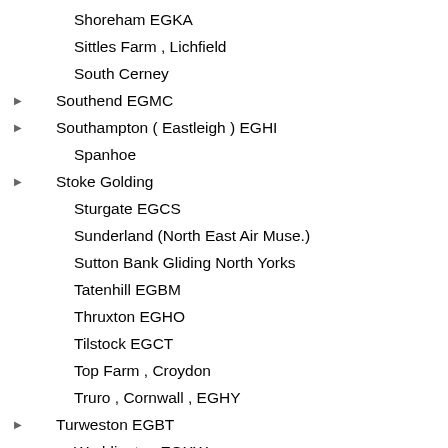Shoreham EGKA
Sittles Farm , Lichfield
South Cerney
Southend EGMC
Southampton ( Eastleigh ) EGHI
Spanhoe
Stoke Golding
Sturgate EGCS
Sunderland (North East Air Muse.)
Sutton Bank Gliding North Yorks
Tatenhill EGBM
Thruxton EGHO
Tilstock EGCT
Top Farm , Croydon
Truro , Cornwall , EGHY
Turweston EGBT
Waddington EGXW
Wellesbourne Mountford EGBW
Welshpool EGCW
Weston-on-the Green , Oxford